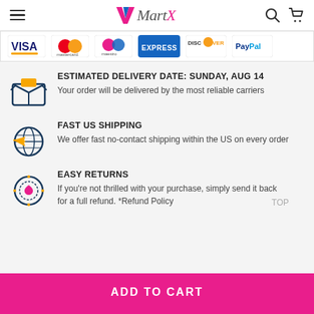MartX navigation header with hamburger menu, logo, search and cart icons
[Figure (other): Payment method logos: Visa, Mastercard, Maestro, American Express, Discover, PayPal]
ESTIMATED DELIVERY DATE: SUNDAY, AUG 14 — Your order will be delivered by the most reliable carriers
FAST US SHIPPING — We offer fast no-contact shipping within the US on every order
EASY RETURNS — If you're not thrilled with your purchase, simply send it back for a full refund. *Refund Policy
ADD TO CART